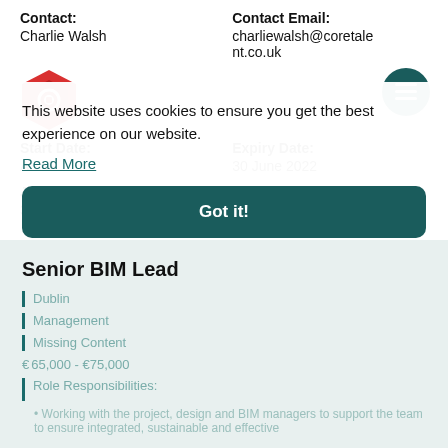Contact: Charlie Walsh
Contact Email: charliewalsh@coretalent.co.uk
[Figure (logo): Red hexagon logo icon for Core Talent]
[Figure (other): Teal circular menu/hamburger button icon]
Start Date: ASAP
Expiry Date: 30 June 2022
Job Ref: 30454/001_1653989505
Senior BIM Lead
Dublin
Management
Missing Content
€65,000 - €75,000
Role Responsibilities:
Working with the project, design and BIM managers to support the team to ensure integrated, sustainable and effective
This website uses cookies to ensure you get the best experience on our website.
Read More
Got it!